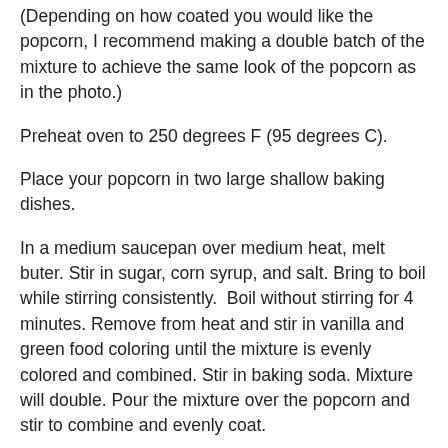(Depending on how coated you would like the popcorn, I recommend making a double batch of the mixture to achieve the same look of the popcorn as in the photo.)
Preheat oven to 250 degrees F (95 degrees C).
Place your popcorn in two large shallow baking dishes.
In a medium saucepan over medium heat, melt buter. Stir in sugar, corn syrup, and salt. Bring to boil while stirring consistently.  Boil without stirring for 4 minutes. Remove from heat and stir in vanilla and green food coloring until the mixture is evenly colored and combined. Stir in baking soda. Mixture will double. Pour the mixture over the popcorn and stir to combine and evenly coat.
Place the popcorn in the oven. Stir the popcorn every 15 minutes for 1 hour. Remove from the oven. Let cool for about 5 minutes and then break into pieces. Be careful popcorn will still be hot.
(Editor's Update: I've had several comments and emails from